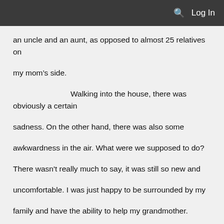Log In
an uncle and an aunt, as opposed to almost 25 relatives on my mom's side.

Walking into the house, there was obviously a certain sadness. On the other hand, there was also some awkwardness in the air. What were we supposed to do? There wasn't really much to say, it was still so new and uncomfortable. I was just happy to be surrounded by my family and have the ability to help my grandmother.

It wasn't much longer until my aunt came up to me.

"Hey Ben, could you do a favor for me?"

I nodded.

"You know how Max is in California? Well, I was